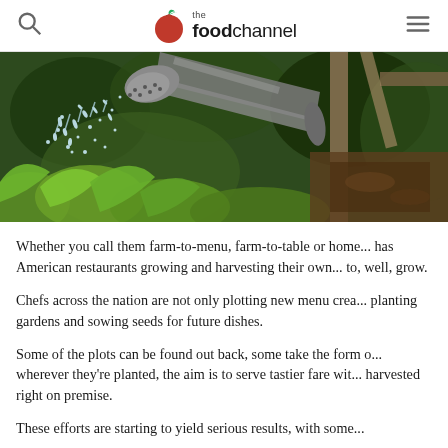the food channel
[Figure (photo): A metal watering can spraying water over green leafy plants in a garden bed, with wooden garden structure in background.]
Whether you call them farm-to-menu, farm-to-table or home... has American restaurants growing and harvesting their own... to, well, grow.
Chefs across the nation are not only plotting new menu crea... planting gardens and sowing seeds for future dishes.
Some of the plots can be found out back, some take the form o... wherever they're planted, the aim is to serve tastier fare wit... harvested right on premise.
These efforts are starting to yield serious results, with some...